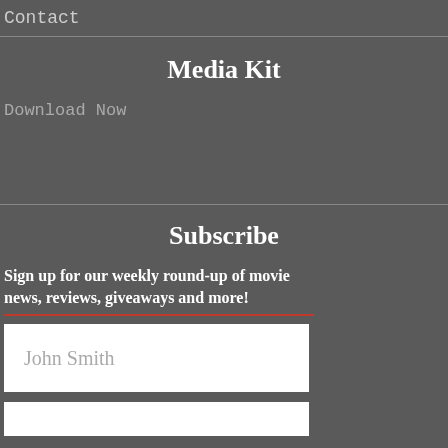Contact
Media Kit
Download Now
Subscribe
Sign up for our weekly round-up of movie news, reviews, giveaways and more!
John Smith